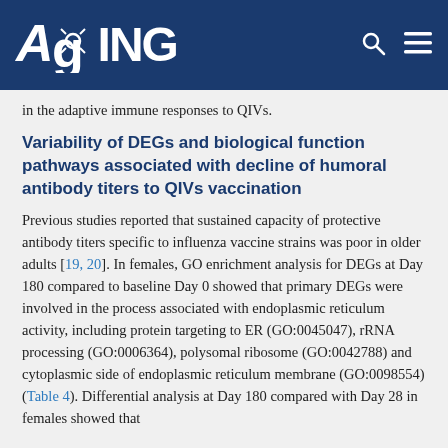AGING
in the adaptive immune responses to QIVs.
Variability of DEGs and biological function pathways associated with decline of humoral antibody titers to QIVs vaccination
Previous studies reported that sustained capacity of protective antibody titers specific to influenza vaccine strains was poor in older adults [19, 20]. In females, GO enrichment analysis for DEGs at Day 180 compared to baseline Day 0 showed that primary DEGs were involved in the process associated with endoplasmic reticulum activity, including protein targeting to ER (GO:0045047), rRNA processing (GO:0006364), polysomal ribosome (GO:0042788) and cytoplasmic side of endoplasmic reticulum membrane (GO:0098554) (Table 4). Differential analysis at Day 180 compared with Day 28 in females showed that